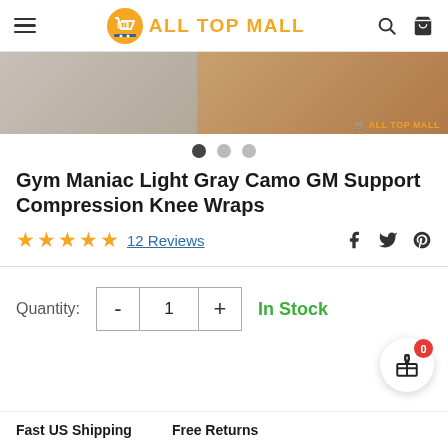ALL TOP MALL
[Figure (photo): Product image showing knee wraps on a leg, split view with left side showing wrapped product and right side showing skin with watermark 'ALL TOP MALL']
Gym Maniac Light Gray Camo GM Support Compression Knee Wraps
12 Reviews
Quantity: 1  In Stock
Fast US Shipping   Free Returns